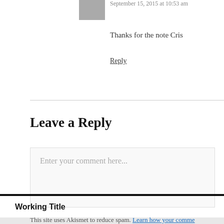September 15, 2015 at 10:53 am
Thanks for the note Cris
Reply
Leave a Reply
Enter your comment here...
This site uses Akismet to reduce spam. Learn how your comme...
Working Title